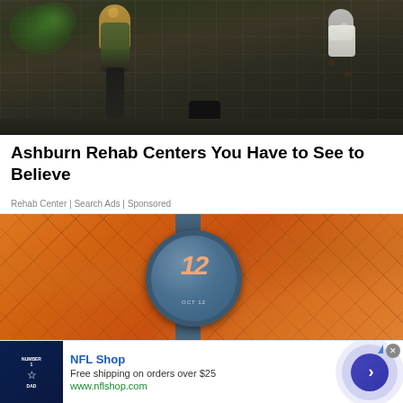[Figure (photo): Two young women posed against a graffiti wall — one in a green jacket, one in leopard print pants — night/evening setting]
Ashburn Rehab Centers You Have to See to Believe
Rehab Center | Search Ads | Sponsored
[Figure (photo): Blue watch with number 12 on face, placed on orange crackers background. Watch face shows OCT 12 date.]
[Figure (other): NFL Shop advertisement banner: Dallas Cowboys jersey thumbnail, text 'NFL Shop', 'Free shipping on orders over $25', 'www.nflshop.com', with blue circular CTA arrow button]